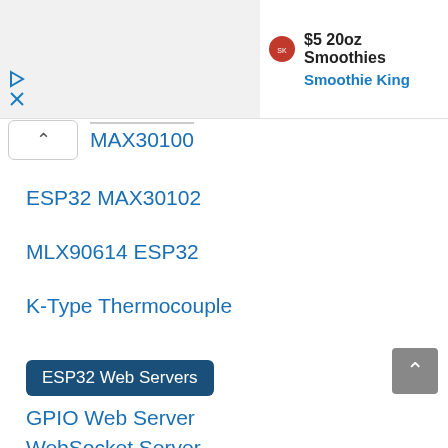[Figure (screenshot): Advertisement banner for Smoothie King showing $5 20oz Smoothies offer with logo]
MAX30100
ESP32 MAX30102
MLX90614 ESP32
K-Type Thermocouple
ESP32 Web Servers
GPIO Web Server
WebSocket Server